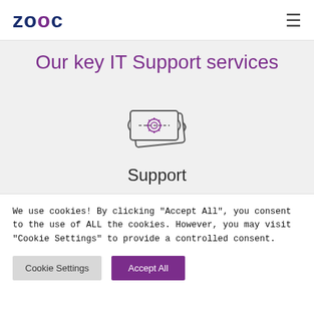ZOOC (logo) | hamburger menu
Our key IT Support services
[Figure (illustration): Two overlapping ticket/coupon icons with a gear/cog symbol in the center, drawn in outline style]
Support
We have a range of Service Level Agreements (SLAs) to
We use cookies! By clicking "Accept All", you consent to the use of ALL the cookies. However, you may visit "Cookie Settings" to provide a controlled consent.
Cookie Settings | Accept All